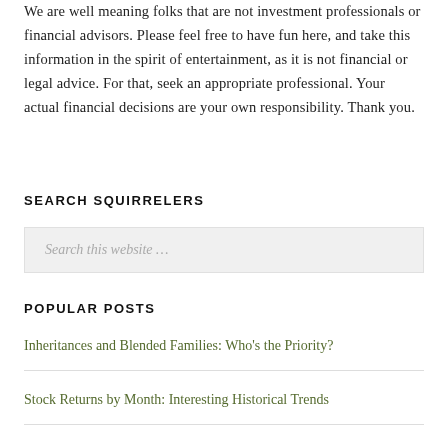We are well meaning folks that are not investment professionals or financial advisors. Please feel free to have fun here, and take this information in the spirit of entertainment, as it is not financial or legal advice. For that, seek an appropriate professional. Your actual financial decisions are your own responsibility. Thank you.
SEARCH SQUIRRELERS
Search this website …
POPULAR POSTS
Inheritances and Blended Families: Who's the Priority?
Stock Returns by Month: Interesting Historical Trends